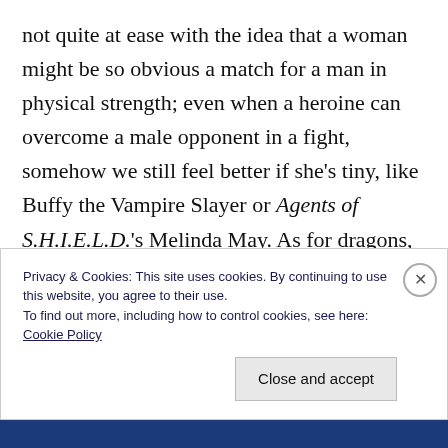not quite at ease with the idea that a woman might be so obvious a match for a man in physical strength; even when a heroine can overcome a male opponent in a fight, somehow we still feel better if she's tiny, like Buffy the Vampire Slayer or Agents of S.H.I.E.L.D.'s Melinda May. As for dragons, what fantasy creature has more raw power? What could do more damage if it weren't somehow on our side? If we imagine such a powerful being as Good, our
Privacy & Cookies: This site uses cookies. By continuing to use this website, you agree to their use.
To find out more, including how to control cookies, see here: Cookie Policy
Close and accept